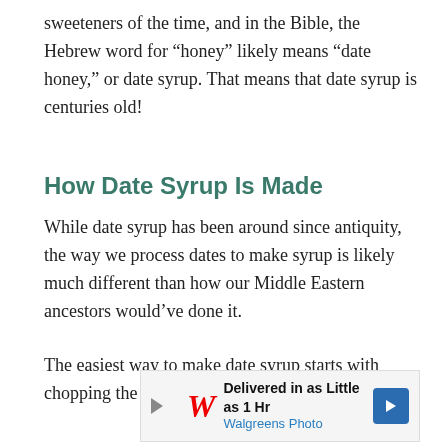sweeteners of the time, and in the Bible, the Hebrew word for “honey” likely means “date honey,” or date syrup. That means that date syrup is centuries old!
How Date Syrup Is Made
While date syrup has been around since antiquity, the way we process dates to make syrup is likely much different than how our Middle Eastern ancestors would’ve done it.
The easiest way to make date syrup starts with chopping the dates and removing their pits, then
[Figure (other): Walgreens Photo advertisement banner: Delivered in as Little as 1 Hr]